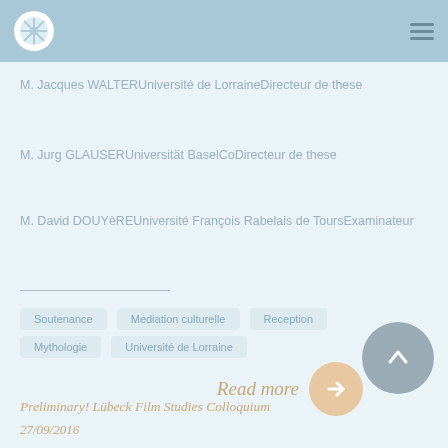Navigation bar with logo and hamburger menu
M. Jacques WALTERUniversité de LorraineDirecteur de these
M. Jurg GLAUSERUniversität BaselCoDirecteur de these
M. David DOUYèREUniversité François Rabelais de ToursExaminateur
Soutenance
Mediation culturelle
Reception
Mythologie
Université de Lorraine
Read more
Preliminary! Lübeck Film Studies Colloquium
27/09/2016